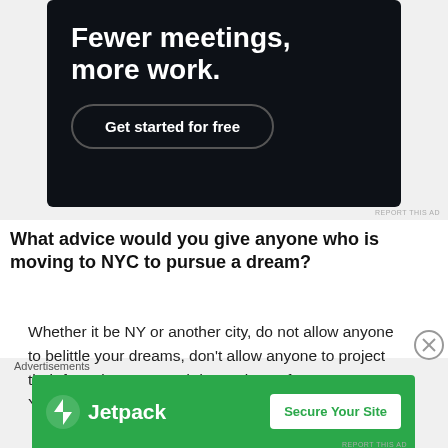[Figure (screenshot): Dark-background advertisement with white bold text 'Fewer meetings, more work.' and a 'Get started for free' button]
What advice would you give anyone who is moving to NYC to pursue a dream?
Whether it be NY or another city, do not allow anyone to belittle your dreams, don't allow anyone to project their fears into you, and don't take no for an answer. You're going to hear a lot of no's before you hear a
[Figure (screenshot): Jetpack advertisement with green background, Jetpack logo, and 'Secure Your Site' button]